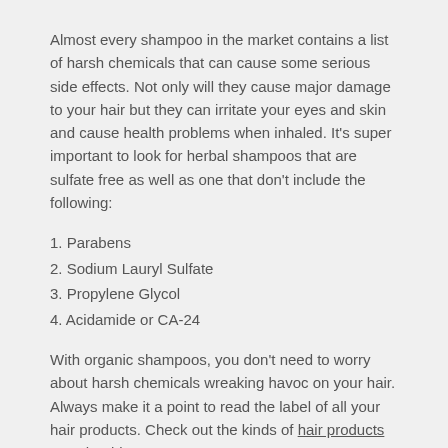Almost every shampoo in the market contains a list of harsh chemicals that can cause some serious side effects. Not only will they cause major damage to your hair but they can irritate your eyes and skin and cause health problems when inhaled. It's super important to look for herbal shampoos that are sulfate free as well as one that don't include the following:
1. Parabens
2. Sodium Lauryl Sulfate
3. Propylene Glycol
4. Acidamide or CA-24
With organic shampoos, you don't need to worry about harsh chemicals wreaking havoc on your hair. Always make it a point to read the label of all your hair products. Check out the kinds of hair products you should use.
3. They Won't Disturb Your Natural pH Balance